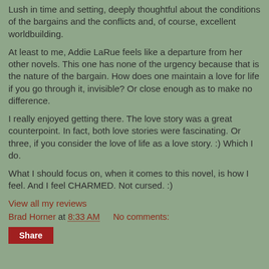Lush in time and setting, deeply thoughtful about the conditions of the bargains and the conflicts and, of course, excellent worldbuilding.
At least to me, Addie LaRue feels like a departure from her other novels. This one has none of the urgency because that is the nature of the bargain. How does one maintain a love for life if you go through it, invisible? Or close enough as to make no difference.
I really enjoyed getting there. The love story was a great counterpoint. In fact, both love stories were fascinating. Or three, if you consider the love of life as a love story. :) Which I do.
What I should focus on, when it comes to this novel, is how I feel. And I feel CHARMED. Not cursed. :)
View all my reviews
Brad Horner at 8:33 AM    No comments:
Share